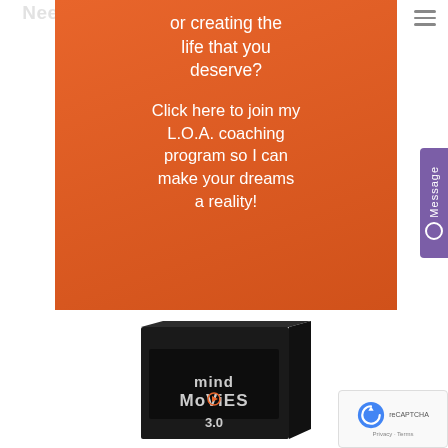[Figure (screenshot): Orange promotional banner with white text reading 'or creating the life that you deserve?' and 'Click here to join my L.O.A. coaching program so I can make your dreams a reality!']
[Figure (photo): Mind Movies 3.0 product box, black box with logo and branding]